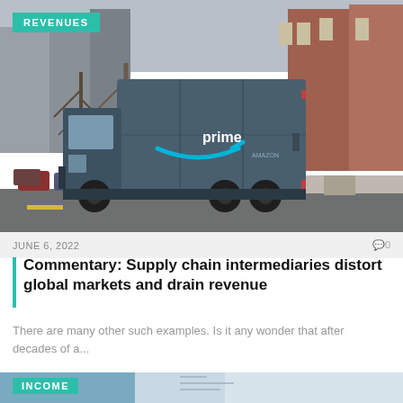[Figure (photo): Amazon Prime delivery truck driving on a residential street with row houses in the background]
REVENUES
JUNE 6, 2022   🗨 0
Commentary: Supply chain intermediaries distort global markets and drain revenue
There are many other such examples. Is it any wonder that after decades of a...
[Figure (photo): Partial view of second article image with INCOME tag overlay]